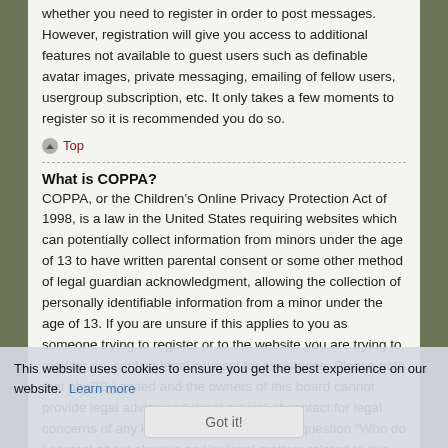whether you need to register in order to post messages. However, registration will give you access to additional features not available to guest users such as definable avatar images, private messaging, emailing of fellow users, usergroup subscription, etc. It only takes a few moments to register so it is recommended you do so.
Top
What is COPPA?
COPPA, or the Children's Online Privacy Protection Act of 1998, is a law in the United States requiring websites which can potentially collect information from minors under the age of 13 to have written parental consent or some other method of legal guardian acknowledgment, allowing the collection of personally identifiable information from a minor under the age of 13. If you are unsure if this applies to you as someone trying to register or to the website you are trying to register on, contact legal counsel for assistance. Please note that phpBB Limited and the owners of this board cannot provide legal advice and is not a point of contact for legal concerns of any kind, except as outlined in question “Who do I contact about abusive and/or legal matters related to this board?”
Top
Why can’t I register?
It is possible a board administrator has disabled registration to prevent new visitors from signing up. A board administrator could have also